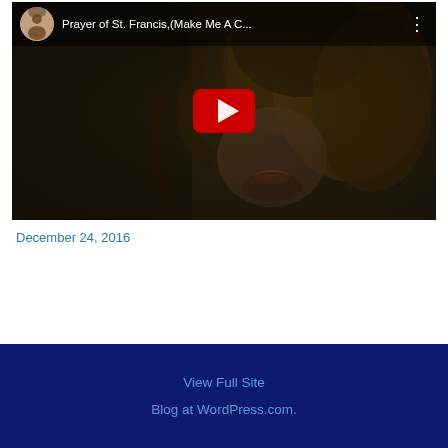[Figure (screenshot): YouTube video thumbnail for 'Prayer of St. Francis,(Make Me A C...' showing a person with curly hair, with the YouTube play button overlay and top bar with avatar, title, and three-dot menu]
December 24, 2016
View Full Site
Blog at WordPress.com.